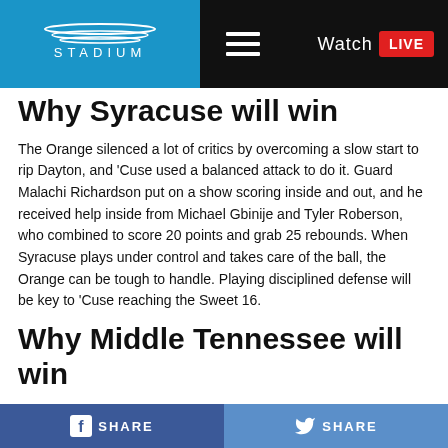STADIUM | Watch LIVE
Why Syracuse will win
The Orange silenced a lot of critics by overcoming a slow start to rip Dayton, and ‘Cuse used a balanced attack to do it. Guard Malachi Richardson put on a show scoring inside and out, and he received help inside from Michael Gbinije and Tyler Roberson, who combined to score 20 points and grab 25 rebounds. When Syracuse plays under control and takes care of the ball, the Orange can be tough to handle. Playing disciplined defense will be key to ‘Cuse reaching the Sweet 16.
Why Middle Tennessee will win
The Blue Raiders stunned Michigan State by spreading the Spartans out and making them…
SHARE | SHARE